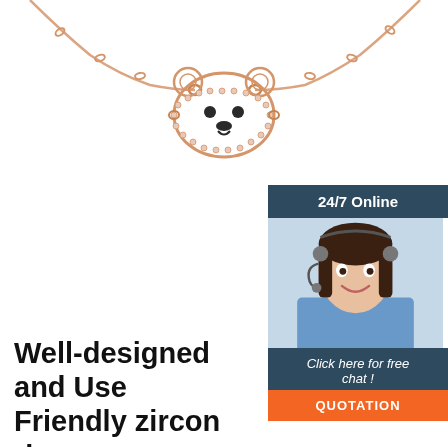[Figure (photo): Rose gold bear-face pendant necklace with zircon/crystal accents on a delicate chain, photographed on white background, partially cropped at top]
[Figure (infographic): 24/7 Online customer service chat widget showing a smiling woman with headset, header '24/7 Online', body text 'Click here for free chat!', and orange 'QUOTATION' button]
Well-designed and User Friendly zircon rings - Alibaba.com
zircon rings brands with grip handles or loops to ensure a smooth fitting and allow for quick-release. Discover adjustable. zircon rings with life-like functions such as pulsation, real-feel skin, vibration, and human-like textures. Whatever your budget and